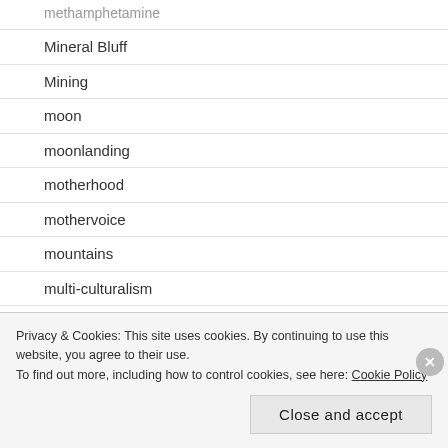methamphetamine
Mineral Bluff
Mining
moon
moonlanding
motherhood
mothervoice
mountains
multi-culturalism
muse
Privacy & Cookies: This site uses cookies. By continuing to use this website, you agree to their use.
To find out more, including how to control cookies, see here: Cookie Policy
Close and accept